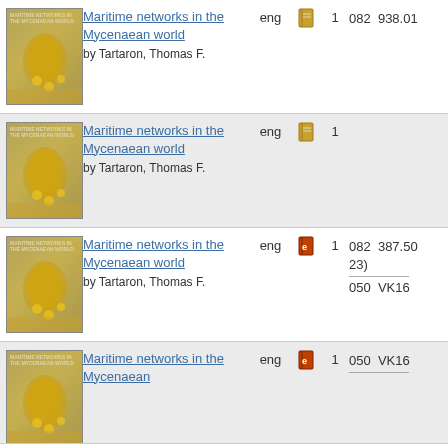| Cover | Title/Author | Lang | Type | Copies | Call Number |
| --- | --- | --- | --- | --- | --- |
| [book cover] | Maritime networks in the Mycenaean world by Tartaron, Thomas F. | eng | [book icon] | 1 | 082  938.01 |
| [book cover] | Maritime networks in the Mycenaean world by Tartaron, Thomas F. | eng | [book icon] | 1 |  |
| [book cover] | Maritime networks in the Mycenaean world by Tartaron, Thomas F. | eng | [ebook icon] | 1 | 082  387.50 23) / 050  VK16 |
| [book cover] | Maritime networks in the Mycenaean world | eng | [ebook icon] | 1 | 050  VK16 |